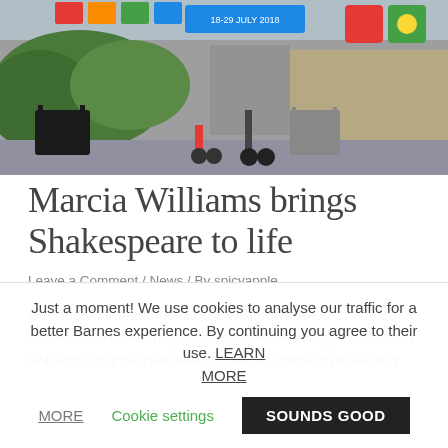[Figure (photo): Outdoor scene with chairs, scooters, colorful flags and banners along an alleyway or courtyard, with green foliage and a stone wall in the background]
Marcia Williams brings Shakespeare to life
Leave a Comment / News / By spicyapple
Cartoonist and author Marcia Williams makes Shakespeare seriously cool, says Malika Kingston. Marcia Williams' original plan was to give an interactive reading
Just a moment! We use cookies to analyse our traffic for a better Barnes experience. By continuing you agree to their use. LEARN MORE   Cookie settings   SOUNDS GOOD